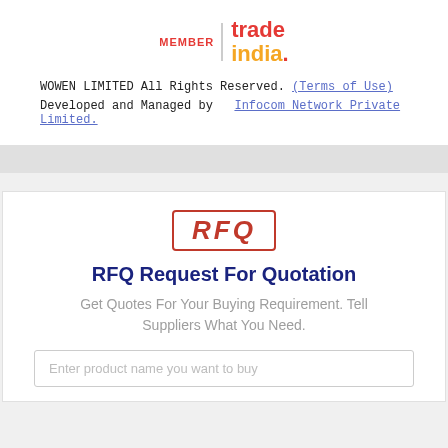[Figure (logo): TradeIndia member logo with red MEMBER text, vertical divider, and trade india. text in red and orange]
WOWEN LIMITED All Rights Reserved. (Terms of Use)
Developed and Managed by  Infocom Network Private Limited.
[Figure (illustration): RFQ stamp graphic with red border and italic text]
RFQ Request For Quotation
Get Quotes For Your Buying Requirement. Tell Suppliers What You Need.
Enter product name you want to buy